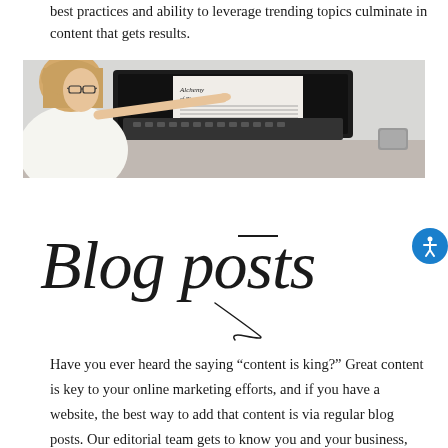best practices and ability to leverage trending topics culminate in content that gets results.
[Figure (photo): A woman with glasses pointing at a laptop screen showing typography/font design work.]
Blog posts
Have you ever heard the saying “content is king?” Great content is key to your online marketing efforts, and if you have a website, the best way to add that content is via regular blog posts. Our editorial team gets to know you and your business, providing weekly or monthly blog